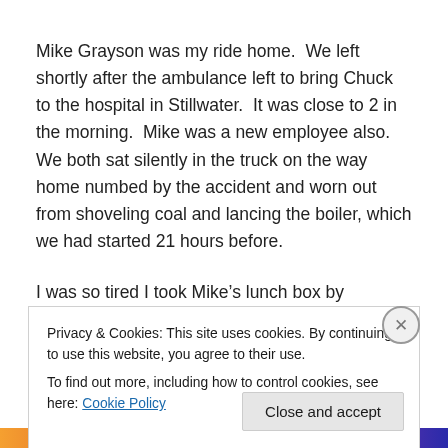Mike Grayson was my ride home.  We left shortly after the ambulance left to bring Chuck to the hospital in Stillwater.  It was close to 2 in the morning.  Mike was a new employee also.  We both sat silently in the truck on the way home numbed by the accident and worn out from shoveling coal and lancing the boiler, which we had started 21 hours before.
I was so tired I took Mike's lunch box by mistake.  I was surprised when he called me the next morning and told
Privacy & Cookies: This site uses cookies. By continuing to use this website, you agree to their use.
To find out more, including how to control cookies, see here: Cookie Policy
Close and accept